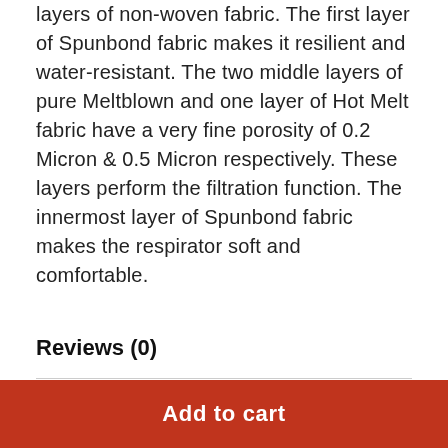layers of non-woven fabric. The first layer of Spunbond fabric makes it resilient and water-resistant. The two middle layers of pure Meltblown and one layer of Hot Melt fabric have a very fine porosity of 0.2 Micron & 0.5 Micron respectively. These layers perform the filtration function. The innermost layer of Spunbond fabric makes the respirator soft and comfortable.
Reviews (0)